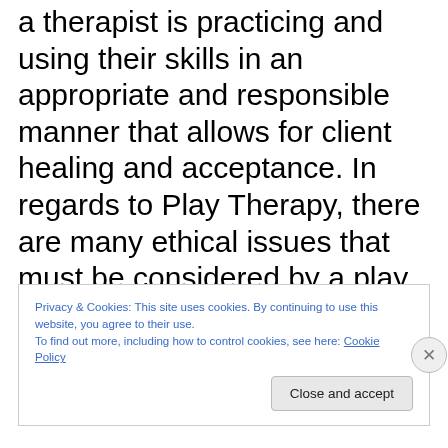a therapist is practicing and using their skills in an appropriate and responsible manner that allows for client healing and acceptance. In regards to Play Therapy, there are many ethical issues that must be considered by a play therapist as they work with their client, the client's
Privacy & Cookies: This site uses cookies. By continuing to use this website, you agree to their use.
To find out more, including how to control cookies, see here: Cookie Policy